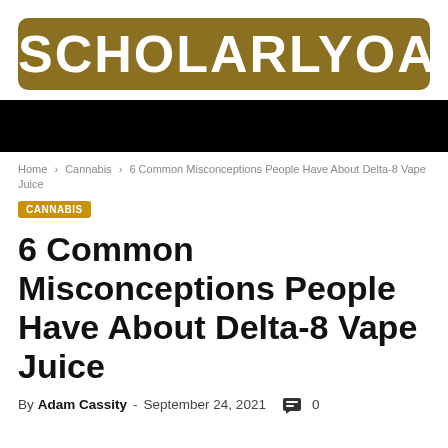SCHOLARLYOA
Home › Cannabis › 6 Common Misconceptions People Have About Delta-8 Vape Juice
CANNABIS
6 Common Misconceptions People Have About Delta-8 Vape Juice
By Adam Cassity - September 24, 2021  0